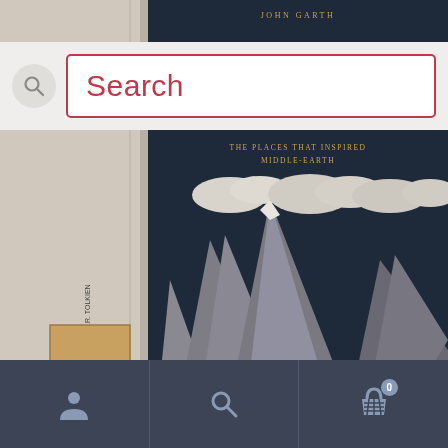[Figure (screenshot): Search bar UI element with magnifying glass icon on the left and a pink/crimson bordered search box with the word 'Search' in crimson text]
[Figure (photo): Product photo of a hardback book: 'The Worlds of J.R.R. Tolkien – The Places That Inspired Middle-Earth' by John Garth. Dark blue/grey cover with a detailed black and white woodcut-style illustration of alpine mountains, valleys, forests and a winding river. A ruler is visible on the left side. A watermark reads www.shopontheborderlands.co.uk at the bottom.]
The Worlds of J.R.R. Tolkien – The Places That Inspired Middle-Earth, by John Garth, hardback book
[Figure (screenshot): Bottom navigation bar with dark blue-grey background containing three icons: a person/account icon, a search/magnifying glass icon, and a shopping basket icon with a badge showing '0']